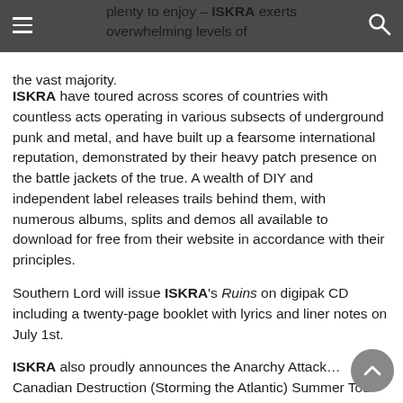plenty to enjoy – ISKRA exerts overwhelming levels of energy and brutality in Ruins, outpacing and outwitting the vast majority.
ISKRA have toured across scores of countries with countless acts operating in various subsects of underground punk and metal, and have built up a fearsome international reputation, demonstrated by their heavy patch presence on the battle jackets of the true. A wealth of DIY and independent label releases trails behind them, with numerous albums, splits and demos all available to download for free from their website in accordance with their principles.
Southern Lord will issue ISKRA's Ruins on digipak CD including a twenty-page booklet with lyrics and liner notes on July 1st.
ISKRA also proudly announces the Anarchy Attack… Canadian Destruction (Storming the Atlantic) Summer Tour of Canada, their first major tour of Canada since 2004. This tour will mark the band's first coast to coast tour of the country and includes five days in the